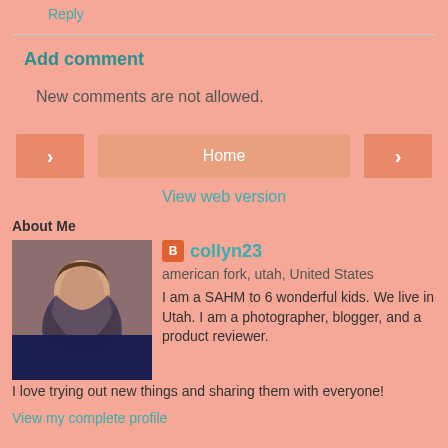Reply
Add comment
New comments are not allowed.
Home
View web version
About Me
[Figure (photo): Profile photo of a woman with long brown hair wearing a dark top]
collyn23
american fork, utah, United States
I am a SAHM to 6 wonderful kids. We live in Utah. I am a photographer, blogger, and a product reviewer. I love trying out new things and sharing them with everyone!
View my complete profile